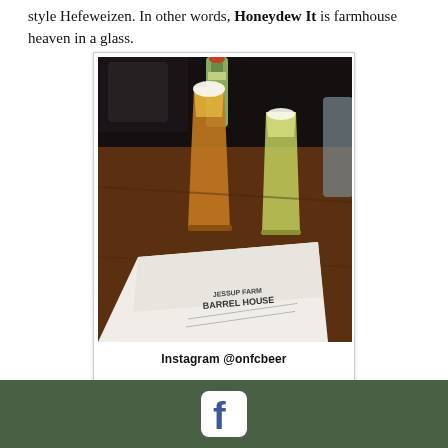style Hefeweizen. In other words, Honeydew It is farmhouse heaven in a glass.
[Figure (photo): Polaroid-style photo of two beer glasses on a wooden table at Jessup Farm Barrel House, with a menu visible in the foreground. Caption reads: Instagram @onfcbeer]
Instagram @onfcbeer
Facebook icon